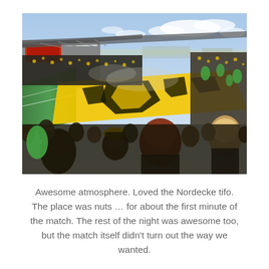[Figure (photo): Aerial/elevated view of a soccer stadium filled with fans wearing black and yellow, with a large yellow and black tifo unfurled in the stands. The stadium structure and sky are visible in the background.]
Awesome atmosphere. Loved the Nordecke tifo. The place was nuts … for about the first minute of the match. The rest of the night was awesome too, but the match itself didn't turn out the way we wanted.